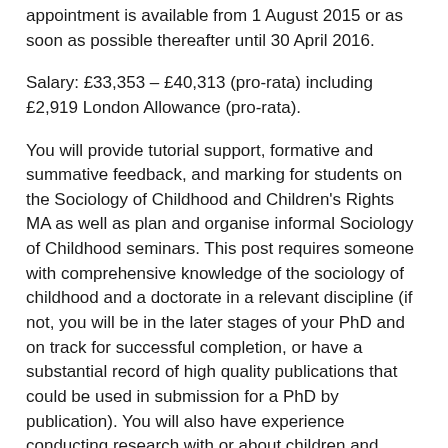appointment is available from 1 August 2015 or as soon as possible thereafter until 30 April 2016.
Salary: £33,353 – £40,313 (pro-rata) including £2,919 London Allowance (pro-rata).
You will provide tutorial support, formative and summative feedback, and marking for students on the Sociology of Childhood and Children's Rights MA as well as plan and organise informal Sociology of Childhood seminars. This post requires someone with comprehensive knowledge of the sociology of childhood and a doctorate in a relevant discipline (if not, you will be in the later stages of your PhD and on track for successful completion, or have a substantial record of high quality publications that could be used in submission for a PhD by publication). You will also have experience conducting research with or about children and childhood, and experience of teaching, lecturing or other forms of public presentation.